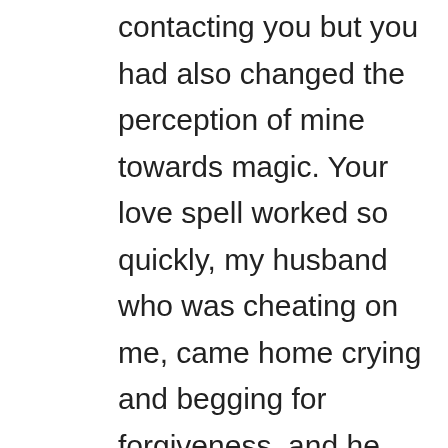contacting you but you had also changed the perception of mine towards magic. Your love spell worked so quickly, my husband who was cheating on me, came home crying and begging for forgiveness, and he cannot explain why he was with our neighbor, just remember that it all started after she gave him a glass of wine. Thank you happiness has returned to our lives and our neighbor has disappeared with her witchcraft. Never saw her and her house is now for sale. Everything was very fast thanks again Dr. Isi Lametu. If you have been looking for a way to get your problems solved just contact Dr. Isi Lametu on website http://ancientspiritualtemples.webs.com and email address: ancientspiritualtemples@gmail.com